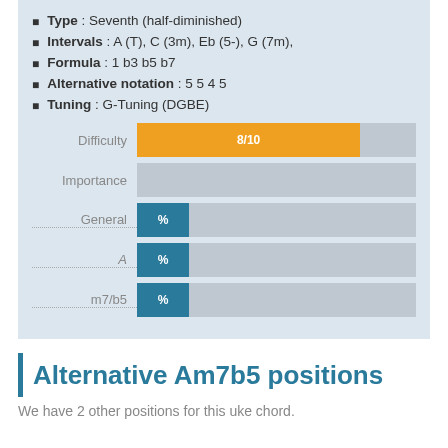Type : Seventh (half-diminished)
Intervals : A (T), C (3m), Eb (5-), G (7m),
Formula : 1 b3 b5 b7
Alternative notation : 5 5 4 5
Tuning : G-Tuning (DGBE)
[Figure (bar-chart): Difficulty / Importance / General / A / m7b5]
Alternative Am7b5 positions
We have 2 other positions for this uke chord.